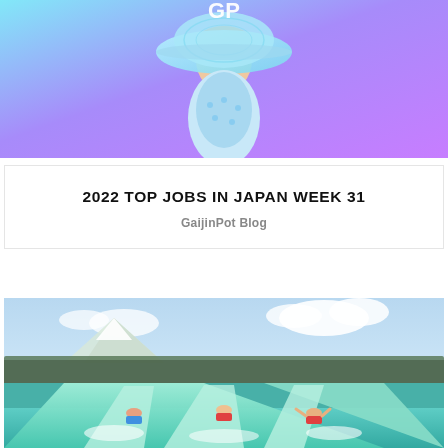[Figure (illustration): Top banner with gradient background (light blue to purple) showing a person wearing a large decorative hat, GaijinPot Blog header graphic]
2022 TOP JOBS IN JAPAN WEEK 31
GaijinPot Blog
[Figure (photo): Outdoor water park slide photo showing three children sliding down a wide aqua-colored water slide, with mountains and trees in the background under a cloudy sky]